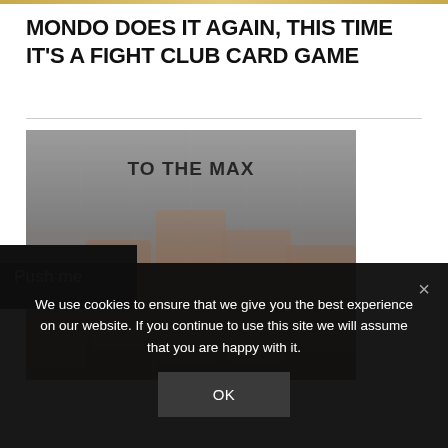MONDO DOES IT AGAIN, THIS TIME IT'S A FIGHT CLUB CARD GAME
[Figure (photo): Photo of women in orange prison uniforms with text overlay 'TO THE MAX']
Push me
We use cookies to ensure that we give you the best experience on our website. If you continue to use this site we will assume that you are happy with it.